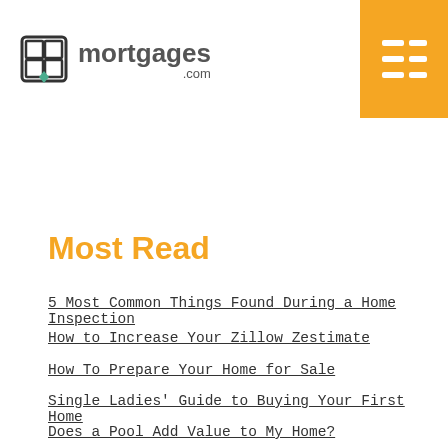[Figure (logo): mortgages.com logo with house/window icon in black and teal diamonds, with orange hamburger menu button in top right corner]
NMLS #1907 | Equal Housing Lender | VA Approved Lender
Not a government agency
Most Read
5 Most Common Things Found During a Home Inspection
How to Increase Your Zillow Zestimate
How To Prepare Your Home for Sale
Single Ladies' Guide to Buying Your First Home
Does a Pool Add Value to My Home?